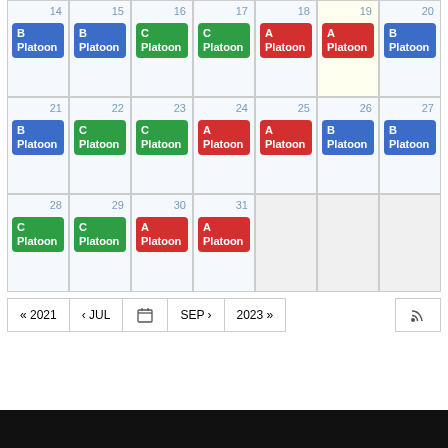[Figure (other): A calendar view showing August 2022 partial month (weeks of 14-20, 21-27, 28-31). Each day cell shows a colored badge indicating platoon assignment: A Platoon (red), B Platoon (blue), C Platoon (green). Day 19 cell has a yellow highlight. Navigation buttons at bottom: « 2021, < JUL, calendar icon, SEP >, 2023 », and RSS icon on right.]
« 2021  < JUL  [calendar]  SEP >  2023 »